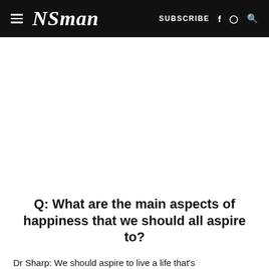≡ NSman   SUBSCRIBE f ⊙ Q
Q: What are the main aspects of happiness that we should all aspire to?
Dr Sharp: We should aspire to live a life that's